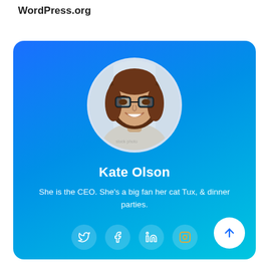WordPress.org
[Figure (illustration): Profile card with circular photo of Kate Olson (woman with glasses, smiling), name, bio text, and social media icons on blue gradient background]
Kate Olson
She is the CEO. She's a big fan her cat Tux, & dinner parties.